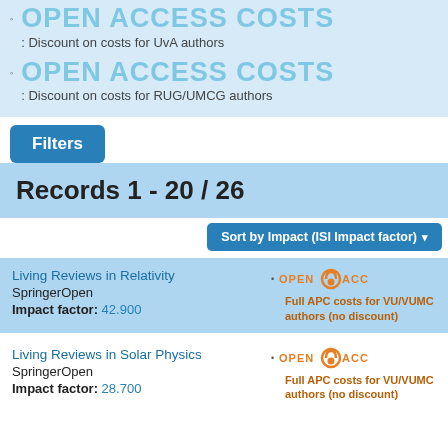OPEN ACCESS COSTS: Discount on costs for UvA authors
OPEN ACCESS COSTS: Discount on costs for RUG/UMCG authors
Filters
Records 1 - 20 / 26
Sort by Impact (ISI Impact factor)
Living Reviews in Relativity
SpringerOpen
Impact factor: 42.900
Full APC costs for VU/VUMC authors (no discount)
Living Reviews in Solar Physics
SpringerOpen
Impact factor: 28.700
Full APC costs for VU/VUMC authors (no discount)